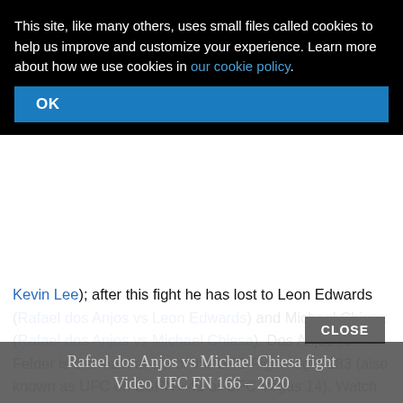This site, like many others, uses small files called cookies to help us improve and customize your experience. Learn more about how we use cookies in our cookie policy.
Kevin Lee); after this fight he has lost to Leon Edwards (Rafael dos Anjos vs Leon Edwards) and Michael Chiesa (Rafael dos Anjos vs Michael Chiesa). Dos Anjos vs Felder is the main event of the UFC Fight Night 183 (also known as UFC on ESPN+ 41 or UFC Vegas 14). Watch the video and rate this fight!
CLOSE
Rafael dos Anjos vs Michael Chiesa fight Video UFC FN 166 – 2020